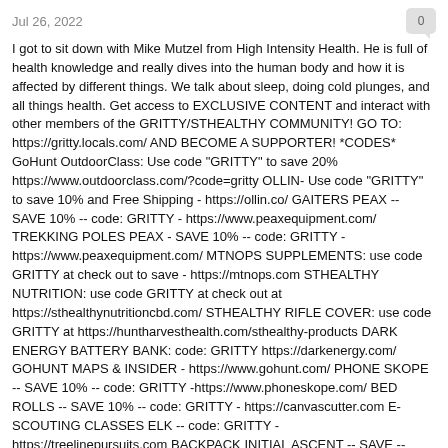Jul 26, 2022
I got to sit down with Mike Mutzel from High Intensity Health. He is full of health knowledge and really dives into the human body and how it is affected by different things. We talk about sleep, doing cold plunges, and all things health. Get access to EXCLUSIVE CONTENT and interact with other members of the GRITTY/STHEALTHY COMMUNITY! GO TO: https://gritty.locals.com/ AND BECOME A SUPPORTER! *CODES* GoHunt OutdoorClass: Use code "GRITTY" to save 20% https://www.outdoorclass.com/?code=gritty OLLIN- Use code "GRITTY" to save 10% and Free Shipping - https://ollin.co/ GAITERS PEAX -- SAVE 10% -- code: GRITTY - https://www.peaxequipment.com/ TREKKING POLES PEAX - SAVE 10% -- code: GRITTY - https://www.peaxequipment.com/ MTNOPS SUPPLEMENTS: use code GRITTY at check out to save - https://mtnops.com STHEALTHY NUTRITION: use code GRITTY at check out at https://sthealthynutritioncbd.com/ STHEALTHY RIFLE COVER: use code GRITTY at https://huntharvesthealth.com/sthealthy-products DARK ENERGY BATTERY BANK: code: GRITTY https://darkenergy.com/ GOHUNT MAPS & INSIDER - https://www.gohunt.com/ PHONE SKOPE -- SAVE 10% -- code: GRITTY -https://www.phoneskope.com/ BED ROLLS -- SAVE 10% -- code: GRITTY - https://canvascutter.com E-SCOUTING CLASSES ELK -- code: GRITTY - https://treelinepursuits.com BACKPACK INITIAL ASCENT -- SAVE -- code: https://initialascent.com/ SHEEP FEET ORTHOTICS -- Use code GRITTY. https://sheepfeetoutdoors.com/collect... GOAT KNIVES -- Use code: GRITTYGOAT - https://goatknives.com BROADHEADS -- 10% off Valkyrie